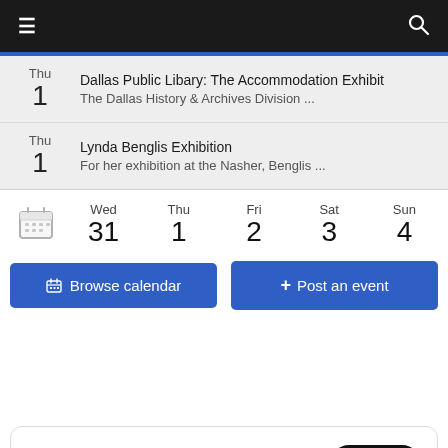Navigation bar with menu and search icons
Thu 1 — Dallas Public Libary: The Accommodation Exhibit
The Dallas History & Archives Division ...
Thu 1 — Lynda Benglis Exhibition
For her exhibition at the Nasher, Benglis ...
Wed 31 | Thu 1 | Fri 2 | Sat 3 | Sun 4
Browse calendar | + Post an event
Tweets from @PeopleNwspapers Follow